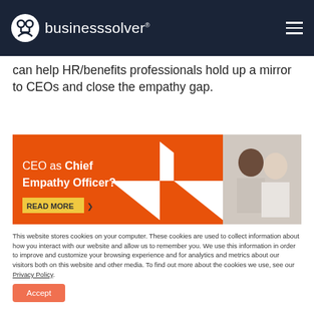businesssolver
can help HR/benefits professionals hold up a mirror to CEOs and close the empathy gap.
[Figure (illustration): Banner image showing CEO as Chief Empathy Officer with orange geometric design and photo of two women]
This website stores cookies on your computer. These cookies are used to collect information about how you interact with our website and allow us to remember you. We use this information in order to improve and customize your browsing experience and for analytics and metrics about our visitors both on this website and other media. To find out more about the cookies we use, see our Privacy Policy.
Accept